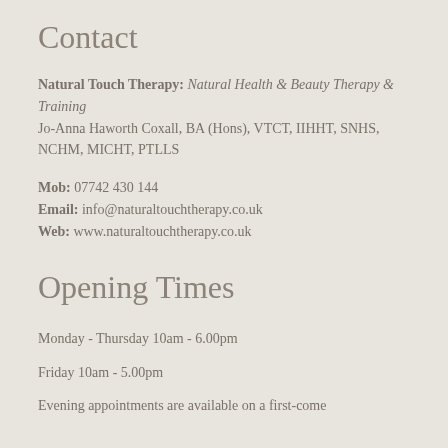Contact
Natural Touch Therapy: Natural Health & Beauty Therapy & Training
Jo-Anna Haworth Coxall, BA (Hons), VTCT, IIHHT, SNHS, NCHM, MICHT, PTLLS
Mob: 07742 430 144
Email: info@naturaltouchtherapy.co.uk
Web: www.naturaltouchtherapy.co.uk
Opening Times
Monday - Thursday 10am - 6.00pm
Friday 10am - 5.00pm
Evening appointments are available on a first-come